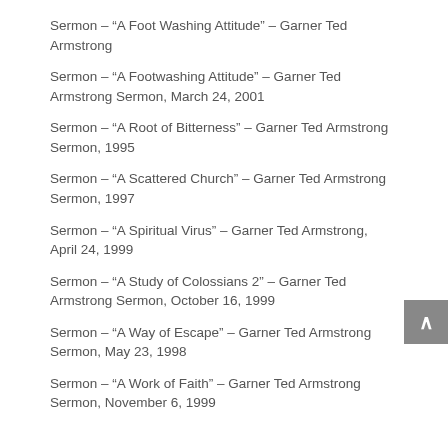Sermon – “A Foot Washing Attitude” – Garner Ted Armstrong
Sermon – “A Footwashing Attitude” – Garner Ted Armstrong Sermon, March 24, 2001
Sermon – “A Root of Bitterness” – Garner Ted Armstrong Sermon, 1995
Sermon – “A Scattered Church” – Garner Ted Armstrong Sermon, 1997
Sermon – “A Spiritual Virus” – Garner Ted Armstrong, April 24, 1999
Sermon – “A Study of Colossians 2” – Garner Ted Armstrong Sermon, October 16, 1999
Sermon – “A Way of Escape” – Garner Ted Armstrong Sermon, May 23, 1998
Sermon – “A Work of Faith” – Garner Ted Armstrong Sermon, November 6, 1999